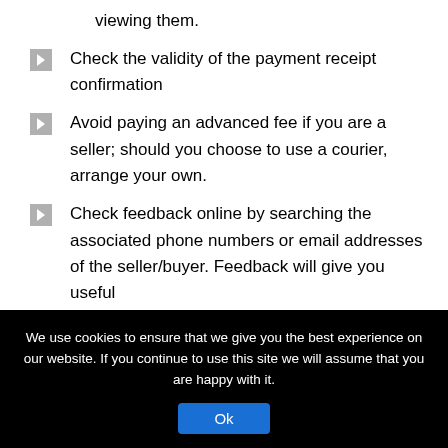viewing them.
Check the validity of the payment receipt confirmation
Avoid paying an advanced fee if you are a seller; should you choose to use a courier, arrange your own.
Check feedback online by searching the associated phone numbers or email addresses of the seller/buyer. Feedback will give you useful
We use cookies to ensure that we give you the best experience on our website. If you continue to use this site we will assume that you are happy with it.